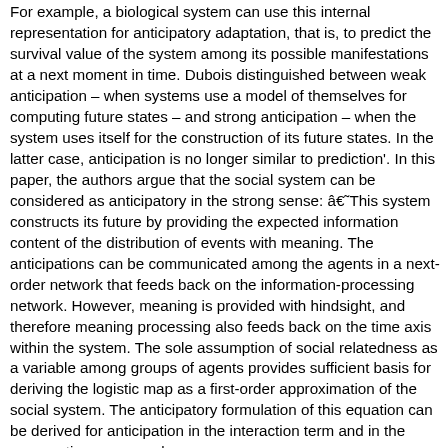For example, a biological system can use this internal representation for anticipatory adaptation, that is, to predict the survival value of the system among its possible manifestations at a next moment in time. Dubois distinguished between weak anticipation – when systems use a model of themselves for computing future states – and strong anticipation – when the system uses itself for the construction of its future states. In the latter case, anticipation is no longer similar to prediction'. In this paper, the authors argue that the social system can be considered as anticipatory in the strong sense: â€˜This system constructs its future by providing the expected information content of the distribution of events with meaning. The anticipations can be communicated among the agents in a next-order network that feeds back on the information-processing network. However, meaning is provided with hindsight, and therefore meaning processing also feeds back on the time axis within the system. The sole assumption of social relatedness as a variable among groups of agents provides sufficient basis for deriving the logistic map as a first-order approximation of the social system. The anticipatory formulation of this equation can be derived for anticipation in the interaction term and in the aggregation among subgroups.